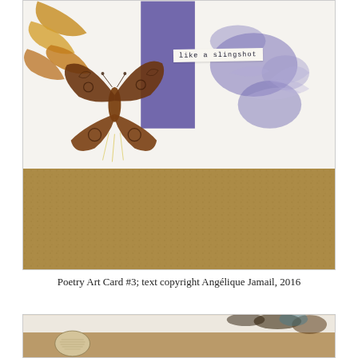[Figure (photo): A poetry art card with a decorative wooden butterfly cutout on the left side, golden/orange leaf shapes in the upper left, purple paint strokes and watercolor butterfly impressions on a white card. A torn paper slip reads 'like a slingshot' in typewriter font. The lower portion shows a brown textured surface (cork or felt board).]
Poetry Art Card #3; text copyright Angélique Jamail, 2016
[Figure (photo): Partial view of another poetry art card showing a cream/ivory background with a small oval/circular element that appears to have text printed on it, set against a warm brown background.]